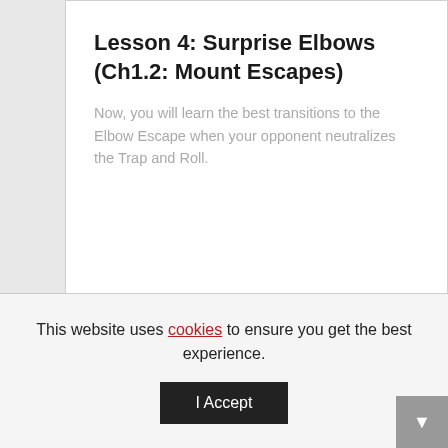Lesson 4: Surprise Elbows (Ch1.2: Mount Escapes)
Now, you will learn the best transitions to the Elbow Escape when your opponent neutralizes the Trap and Roll.
This website uses cookies to ensure you get the best experience.
I Accept